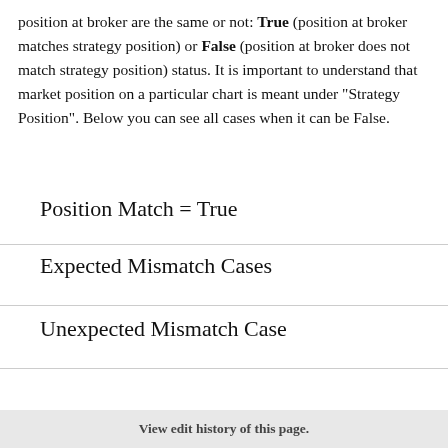position at broker are the same or not: True (position at broker matches strategy position) or False (position at broker does not match strategy position) status. It is important to understand that market position on a particular chart is meant under "Strategy Position". Below you can see all cases when it can be False.
Position Match = True
Expected Mismatch Cases
Unexpected Mismatch Case
View edit history of this page.